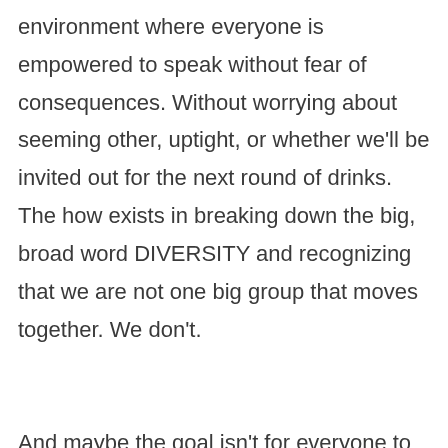environment where everyone is empowered to speak without fear of consequences. Without worrying about seeming other, uptight, or whether we'll be invited out for the next round of drinks. The how exists in breaking down the big, broad word DIVERSITY and recognizing that we are not one big group that moves together. We don't.

And maybe the goal isn't for everyone to be on the same line, devoid of differences. I think the